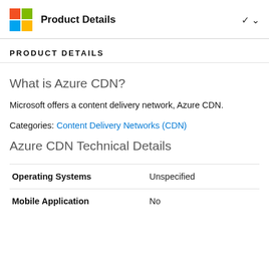Product Details
PRODUCT DETAILS
What is Azure CDN?
Microsoft offers a content delivery network, Azure CDN.
Categories: Content Delivery Networks (CDN)
Azure CDN Technical Details
|  |  |
| --- | --- |
| Operating Systems | Unspecified |
| Mobile Application | No |